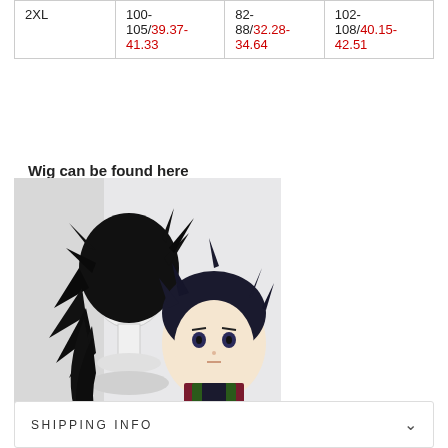| 2XL | 100-
105/39.37-
41.33 | 82-
88/32.28-
34.64 | 102-
108/40.15-
42.51 |
Wig can be found here
[Figure (photo): Photo of a black cosplay wig on a white mannequin head next to an anime character illustration with dark spiky hair, from Demon Slayer.]
SHIPPING INFO